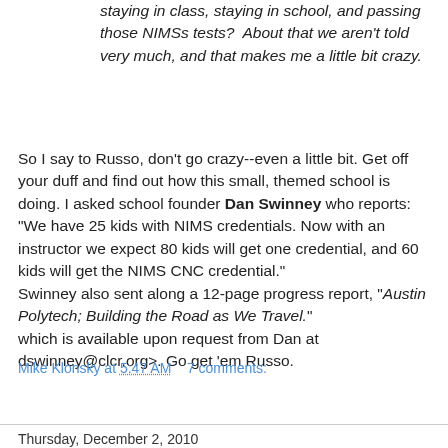staying in class, staying in school, and passing those NIMSs tests?  About that we aren't told very much, and that makes me a little bit crazy.
So I say to Russo, don't go crazy--even a little bit. Get off your duff and find out how this small, themed school is doing. I asked school founder Dan Swinney who reports: "We have 25 kids with NIMS credentials. Now with an instructor we expect 80 kids will get one credential, and 60 kids will get the NIMS CNC credential." Swinney also sent along a 12-page progress report, "Austin Polytech; Building the Road as We Travel." which is available upon request from Dan at dswinney@clcr.org>. Go get 'em Russo.
Mike Klonsky at 5:47 AM   7 comments:
Share
Thursday, December 2, 2010